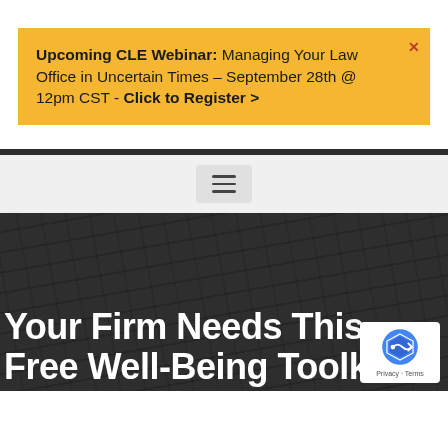Upcoming CLE Webinar: Managing Your Law Office in Uncertain Times – September 28th @ 12pm CST - Click to Register >
[Figure (screenshot): Navigation bar (dark) and hamburger menu button on light grey background]
Your Firm Needs This Free Well-Being Toolkit